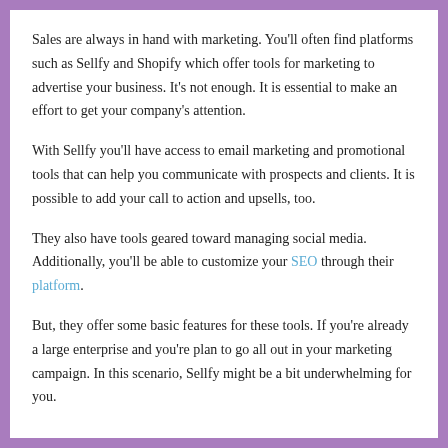Sales are always in hand with marketing. You'll often find platforms such as Sellfy and Shopify which offer tools for marketing to advertise your business. It's not enough. It is essential to make an effort to get your company's attention.
With Sellfy you'll have access to email marketing and promotional tools that can help you communicate with prospects and clients. It is possible to add your call to action and upsells, too.
They also have tools geared toward managing social media. Additionally, you'll be able to customize your SEO through their platform.
But, they offer some basic features for these tools. If you're already a large enterprise and you're plan to go all out in your marketing campaign. In this scenario, Sellfy might be a bit underwhelming for you.